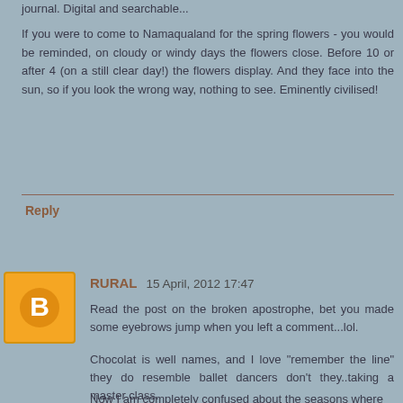journal. Digital and searchable...
If you were to come to Namaqualand for the spring flowers - you would be reminded, on cloudy or windy days the flowers close. Before 10 or after 4 (on a still clear day!) the flowers display. And they face into the sun, so if you look the wrong way, nothing to see. Eminently civilised!
Reply
RURAL  15 April, 2012 17:47
Read the post on the broken apostrophe, bet you made some eyebrows jump when you left a comment...lol.
Chocolat is well names, and I love "remember the line" they do resemble ballet dancers don't they..taking a master class.
Now I am completely confused about the seasons where